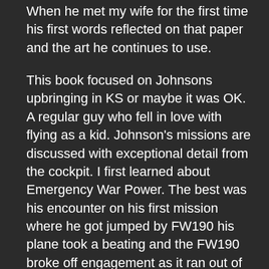When he met my wife for the first time his first words reflected on that paper and the art he continues to use.
This book focused on Johnsons upbringing in KS or maybe it was OK. A regular guy who fell in love with flying as a kid. Johnson's missions are discussed with exceptional detail from the cockpit. I first learned about Emergency War Power. The best was his encounter on his first mission where he got jumped by FW190 his plane took a beating and the FW190 broke off engagement as it ran out of ammo. His plane absorbed an incredible amount of punishment and brought him home. This was highlighted